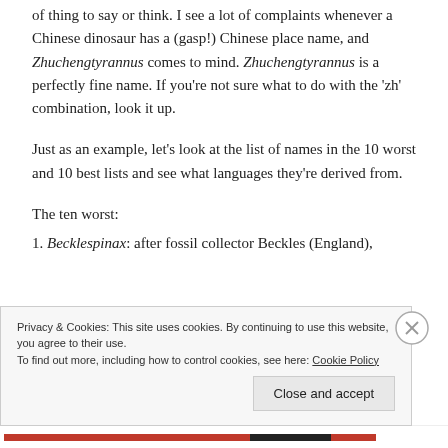of thing to say or think. I see a lot of complaints whenever a Chinese dinosaur has a (gasp!) Chinese place name, and Zhuchengtyrannus comes to mind. Zhuchengtyrannus is a perfectly fine name. If you're not sure what to do with the 'zh' combination, look it up.
Just as an example, let's look at the list of names in the 10 worst and 10 best lists and see what languages they're derived from.
The ten worst:
1. Becklespinax: after fossil collector Beckles (England),
Privacy & Cookies: This site uses cookies. By continuing to use this website, you agree to their use. To find out more, including how to control cookies, see here: Cookie Policy
Close and accept